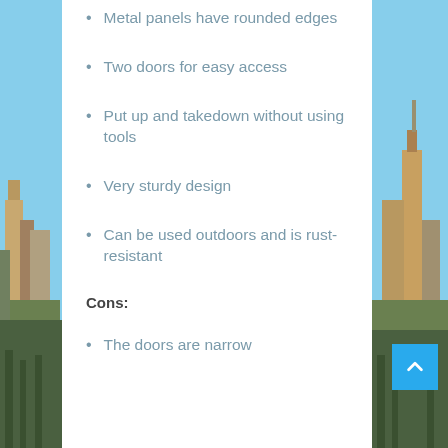Metal panels have rounded edges
Two doors for easy access
Put up and takedown without using tools
Very sturdy design
Can be used outdoors and is rust-resistant
Cons:
The doors are narrow